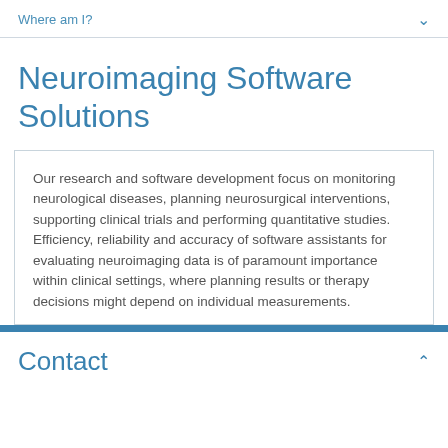Where am I?
Neuroimaging Software Solutions
Our research and software development focus on monitoring neurological diseases, planning neurosurgical interventions, supporting clinical trials and performing quantitative studies. Efficiency, reliability and accuracy of software assistants for evaluating neuroimaging data is of paramount importance within clinical settings, where planning results or therapy decisions might depend on individual measurements.
Contact